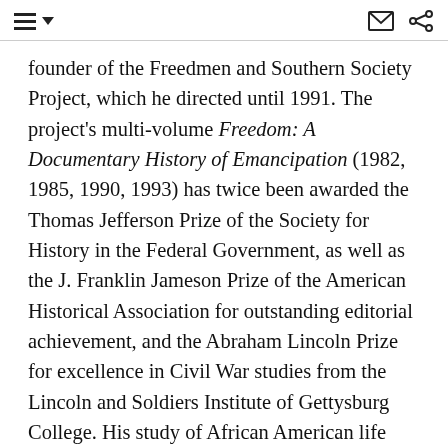[navigation icons: menu, dropdown arrow, envelope, share]
founder of the Freedmen and Southern Society Project, which he directed until 1991. The project's multi-volume Freedom: A Documentary History of Emancipation (1982, 1985, 1990, 1993) has twice been awarded the Thomas Jefferson Prize of the Society for History in the Federal Government, as well as the J. Franklin Jameson Prize of the American Historical Association for outstanding editorial achievement, and the Abraham Lincoln Prize for excellence in Civil War studies from the Lincoln and Soldiers Institute of Gettysburg College. His study of African American life between 1619 and 1819 entitled Many Thousands Gone: The First Two Centuries of Slavery in Mainland North America was published by Harvard University Press in 1999. It was awarded numerous prices including the Bancroft Prize for the best book in American